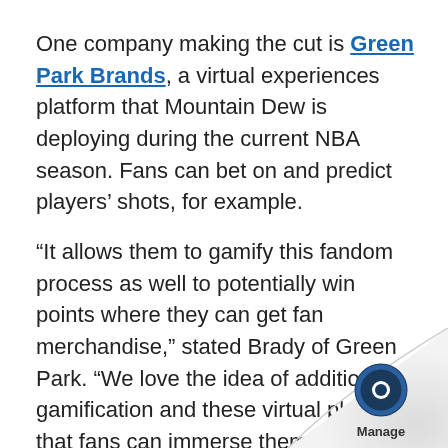One company making the cut is Green Park Brands, a virtual experiences platform that Mountain Dew is deploying during the current NBA season. Fans can bet on and predict players' shots, for example.
“It allows them to gamify this fandom process as well to potentially win points where they can get fan merchandise,” stated Brady of Green Park. “We love the idea of additional gamification and these virtual platforms that fans can immerse themselves in.”
Founded in 2015 in Los Angeles, Green Park is a holding company that creates, operates and accelerates consumer brands, including Hippeas, a supplier of snacks made from chickpeas.
PepsiCo partner CreativeX uses AI to predict w...